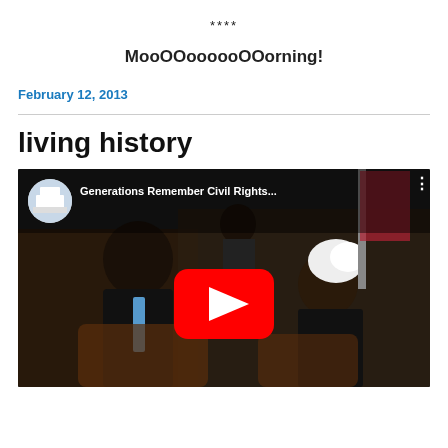****
MooOOoooooOOorning!
February 12, 2013
living history
[Figure (screenshot): YouTube video thumbnail showing 'Generations Remember Civil Rights...' with a White House channel icon and two people seated talking, with a red YouTube play button overlay.]